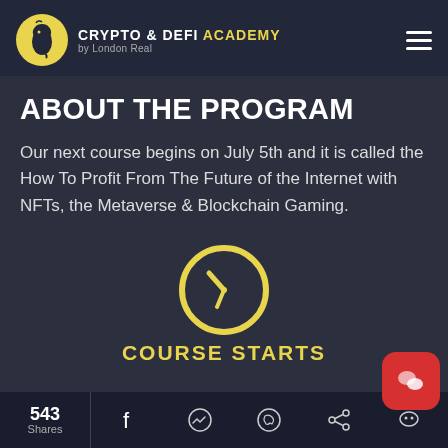CRYPTO & DEFI ACADEMY by London Real
ABOUT THE PROGRAM
Our next course begins on July 5th and it is called the How To Profit From The Future of the Internet with NFTs, the Metaverse & Blockchain Gaming.
[Figure (illustration): Yellow clock icon on dark background]
COURSE STARTS
543 Shares | Facebook | Messenger | WhatsApp | Share